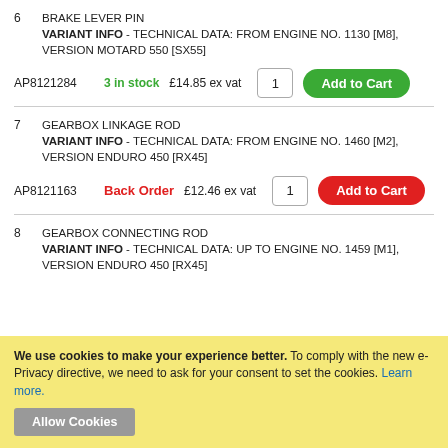6 BRAKE LEVER PIN
VARIANT INFO - TECHNICAL DATA: FROM ENGINE NO. 1130 [M8], VERSION MOTARD 550 [SX55]
AP8121284   3 in stock   £14.85 ex vat   1   Add to Cart
7 GEARBOX LINKAGE ROD
VARIANT INFO - TECHNICAL DATA: FROM ENGINE NO. 1460 [M2], VERSION ENDURO 450 [RX45]
AP8121163   Back Order   £12.46 ex vat   1   Add to Cart
8 GEARBOX CONNECTING ROD
VARIANT INFO - TECHNICAL DATA: UP TO ENGINE NO. 1459 [M1], VERSION ENDURO 450 [RX45]
We use cookies to make your experience better. To comply with the new e-Privacy directive, we need to ask for your consent to set the cookies. Learn more.
Allow Cookies